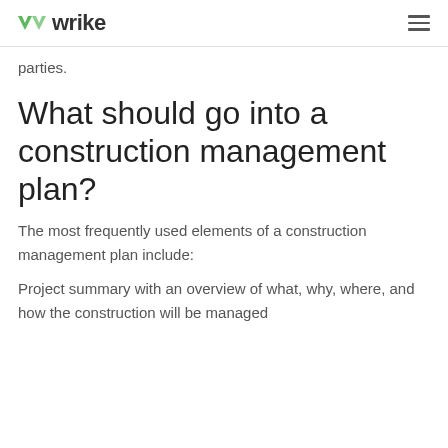wrike
parties.
What should go into a construction management plan?
The most frequently used elements of a construction management plan include:
Project summary with an overview of what, why, where, and how the construction will be managed